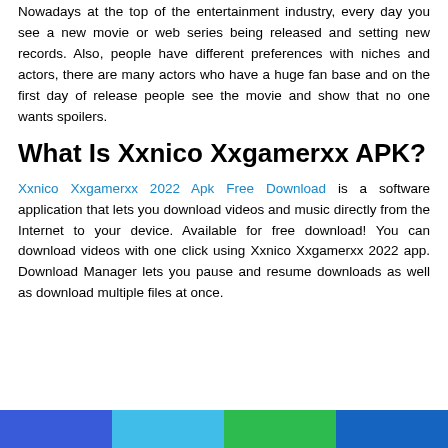Nowadays at the top of the entertainment industry, every day you see a new movie or web series being released and setting new records. Also, people have different preferences with niches and actors, there are many actors who have a huge fan base and on the first day of release people see the movie and show that no one wants spoilers.
What Is Xxnico Xxgamerxx APK?
Xxnico Xxgamerxx 2022 Apk Free Download is a software application that lets you download videos and music directly from the Internet to your device. Available for free download! You can download videos with one click using Xxnico Xxgamerxx 2022 app. Download Manager lets you pause and resume downloads as well as download multiple files at once.